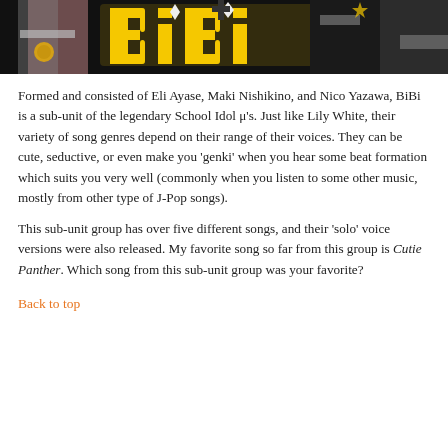[Figure (photo): BiBi group photo/logo — dark background with large yellow BiBi text/logo and anime characters visible]
Formed and consisted of Eli Ayase, Maki Nishikino, and Nico Yazawa, BiBi is a sub-unit of the legendary School Idol μ's. Just like Lily White, their variety of song genres depend on their range of their voices. They can be cute, seductive, or even make you 'genki' when you hear some beat formation which suits you very well (commonly when you listen to some other music, mostly from other type of J-Pop songs).
This sub-unit group has over five different songs, and their 'solo' voice versions were also released. My favorite song so far from this group is Cutie Panther. Which song from this sub-unit group was your favorite?
Back to top